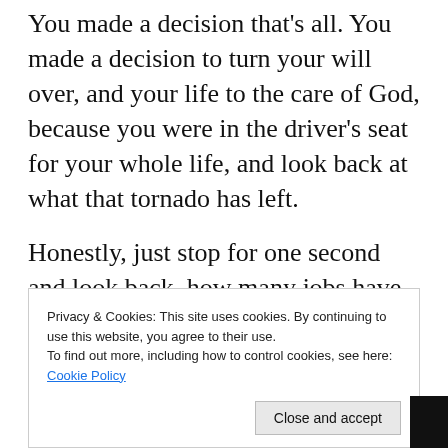You made a decision that's all. You made a decision to turn your will over, and your life to the care of God, because you were in the driver's seat for your whole life, and look back at what that tornado has left.
Honestly, just stop for one second and look back, how many jobs have you lost? How many relationships have you destroyed?
Look at the people around you, are they
Privacy & Cookies: This site uses cookies. By continuing to use this website, you agree to their use.
To find out more, including how to control cookies, see here: Cookie Policy
Close and accept
God.